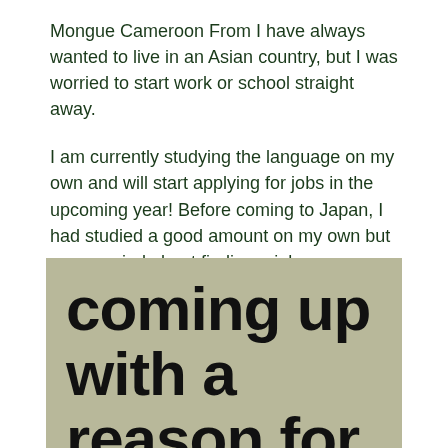Mongue Cameroon From I have always wanted to live in an Asian country, but I was worried to start work or school straight away.
I am currently studying the language on my own and will start applying for jobs in the upcoming year! Before coming to Japan, I had studied a good amount on my own but was worried about finding a job as a foreigner.
Khalid Nazari Saudi Arabia From After facing some financial struggles in my home country, I knew I wanted to begin working in Japan to improve my future career.
[Figure (other): Gray background banner with large bold black text reading 'coming up with a reason for your concept 15']